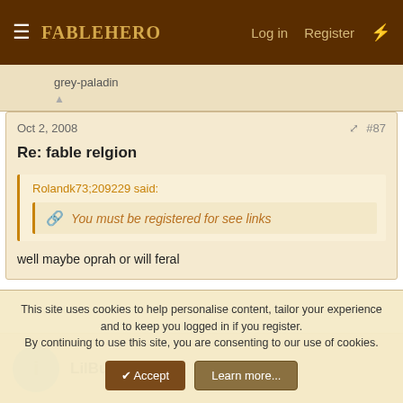FABLEHERO  Log in  Register
grey-paladin
Oct 2, 2008  #87
Re: fable relgion
Rolandk73;209229 said:
You must be registered for see links
well maybe oprah or will feral
LilBud710
This site uses cookies to help personalise content, tailor your experience and to keep you logged in if you register.
By continuing to use this site, you are consenting to our use of cookies.